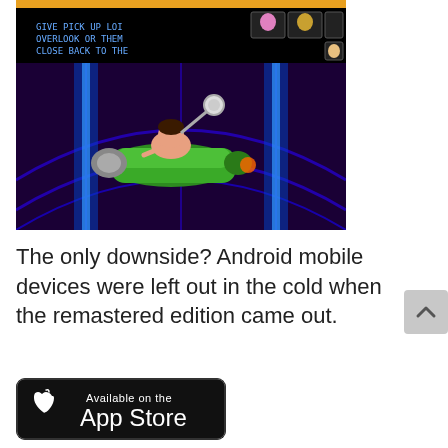[Figure (screenshot): Screenshot of a video game showing a character riding a green vehicle/hovercraft in a dark purple/black arena environment, with game UI elements showing character icons and text in the top portion]
The only downside? Android mobile devices were left out in the cold when the remastered edition came out.
[Figure (logo): Apple App Store download badge — black rounded rectangle with Apple logo and text 'Available on the App Store']